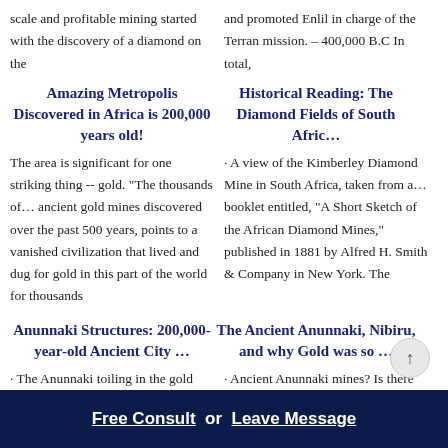scale and profitable mining started with the discovery of a diamond on the
and promoted Enlil in charge of the Terran mission. – 400,000 B.C In total,
Amazing Metropolis Discovered in Africa is 200,000 years old!
Historical Reading: The Diamond Fields of South Afric…
The area is significant for one striking thing -- gold. "The thousands of… ancient gold mines discovered over the past 500 years, points to a vanished civilization that lived and dug for gold in this part of the world for thousands
· A view of the Kimberley Diamond Mine in South Africa, taken from a… booklet entitled, "A Short Sketch of the African Diamond Mines," published in 1881 by Alfred H. Smith & Company in New York. The
Anunnaki Structures: 200,000-year-old Ancient City …
The Ancient Anunnaki, Nibiru, and why Gold was so …
· The Anunnaki toiling in the gold mines mutiny. Enki and Ninhursag… create Primitive Workers through
· Ancient Anunnaki mines? Is there evidence? 150 km west of Port… Maputo in South Africa, we find what
Free Consult  or  Leave Message